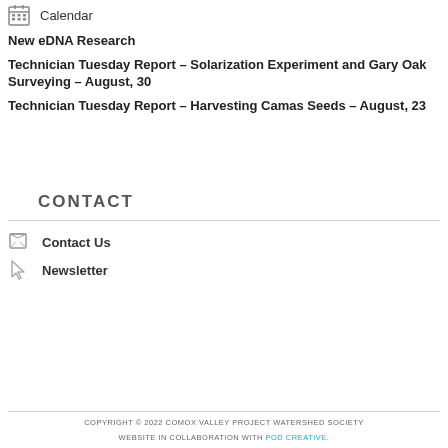Calendar
New eDNA Research
Technician Tuesday Report – Solarization Experiment and Gary Oak Surveying – August, 30
Technician Tuesday Report – Harvesting Camas Seeds – August, 23
CONTACT
Contact Us
Newsletter
COPYRIGHT © 2022 COMOX VALLEY PROJECT WATERSHED SOCIETY
WEBSITE IN COLLABORATION WITH POD CREATIVE.